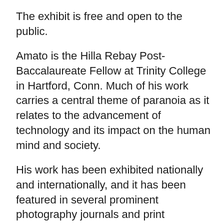The exhibit is free and open to the public.
Amato is the Hilla Rebay Post-Baccalaureate Fellow at Trinity College in Hartford, Conn. Much of his work carries a central theme of paranoia as it relates to the advancement of technology and its impact on the human mind and society.
His work has been exhibited nationally and internationally, and it has been featured in several prominent photography journals and print publications, including WIRED Magazine.
“The images in this exhibit are of the ever-present TV in our culture,” said René West, assistant professor of photography at AC. “They provide the viewer a place to contemplate their own relationship with the 24/7 news cycle in our society. They also relate to many contemporary topics, such as privacy, social media and